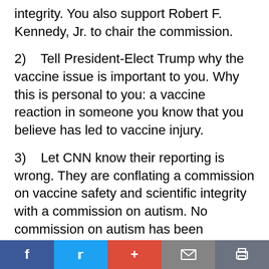integrity. You also support Robert F. Kennedy, Jr. to chair the commission.
2)    Tell President-Elect Trump why the vaccine issue is important to you. Why this is personal to you: a vaccine reaction in someone you know that you believe has led to vaccine injury.
3)    Let CNN know their reporting is wrong. They are conflating a commission on vaccine safety and scientific integrity with a commission on autism. No commission on autism has been publically announced as of yet and it is not correct to imply the two are
f  t  +  mail  print